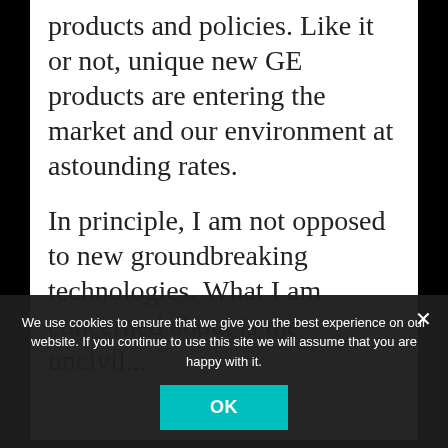products and policies. Like it or not, unique new GE products are entering the market and our environment at astounding rates.
In principle, I am not opposed to new groundbreaking technologies. What I am concerned about is the uncivil...
We use cookies to ensure that we give you the best experience on our website. If you continue to use this site we will assume that you are happy with it.